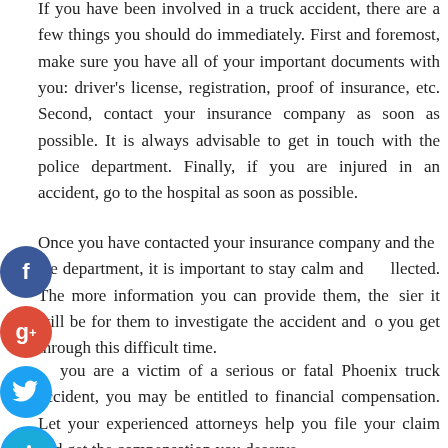If you have been involved in a truck accident, there are a few things you should do immediately. First and foremost, make sure you have all of your important documents with you: driver's license, registration, proof of insurance, etc. Second, contact your insurance company as soon as possible. It is always advisable to get in touch with the police department. Finally, if you are injured in an accident, go to the hospital as soon as possible.
Once you have contacted your insurance company and the police department, it is important to stay calm and collected. The more information you can provide them, the easier it will be for them to investigate the accident and help you get through this difficult time.
If you are a victim of a serious or fatal Phoenix truck accident, you may be entitled to financial compensation. Let your experienced attorneys help you file your claim and get the compensation you deserve.